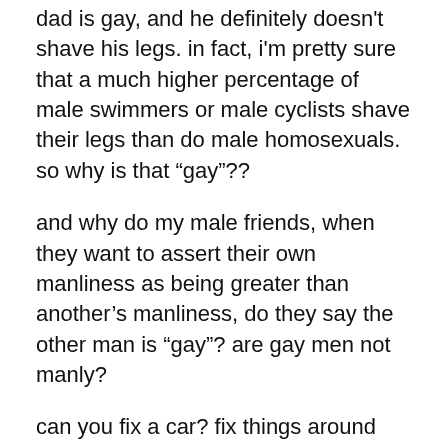dad is gay, and he definitely doesn't shave his legs. in fact, i'm pretty sure that a much higher percentage of male swimmers or male cyclists shave their legs than do male homosexuals. so why is that “gay”??
and why do my male friends, when they want to assert their own manliness as being greater than another’s manliness, do they say the other man is “gay”? are gay men not manly?
can you fix a car? fix things around the house? build things? work on a farm? be a good father? because my dad can. he may wear designer jeans and tight black t-shirts, but he’s also one of the manliest men i know.
so last night i was hanging out with some friends, and they started making fun of another friend, who was at a gay party. lots of “gay” banter went back and forth. not all of it